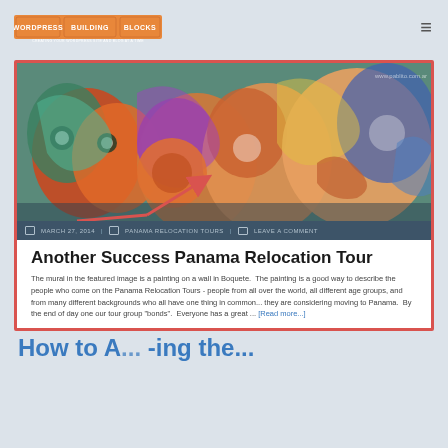WordPress Building Blocks — Creating your WordPress site and blog at a time
[Figure (screenshot): Screenshot of a WordPress blog post card with a red border highlight. Features a colorful mural photograph, a dark blue metadata bar showing 'MARCH 27, 2014 | PANAMA RELOCATION TOURS | LEAVE A COMMENT', a red arrow annotation pointing to the featured image area, and blog post content below.]
Another Success Panama Relocation Tour
The mural in the featured image is a painting on a wall in Boquete. The painting is a good way to describe the people who come on the Panama Relocation Tours - people from all over the world, all different age groups, and from many different backgrounds who all have one thing in common... they are considering moving to Panama. By the end of day one our tour group "bonds". Everyone has a great ... [Read more...]
How to A... -ing the...